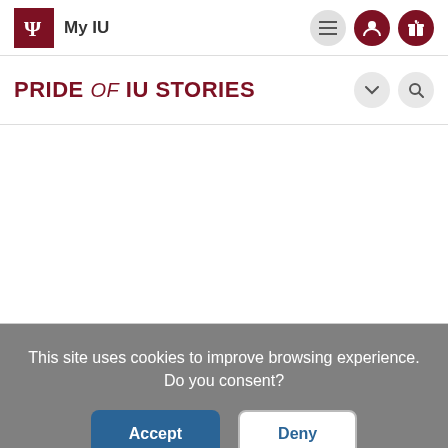My IU
PRIDE of IU STORIES
This site uses cookies to improve browsing experience. Do you consent?